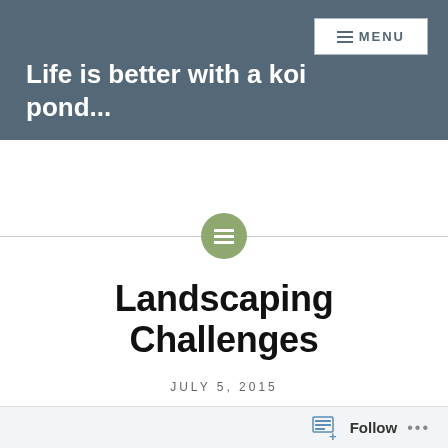Life is better with a koi pond...
Landscaping Challenges
JULY 5, 2015
Follow